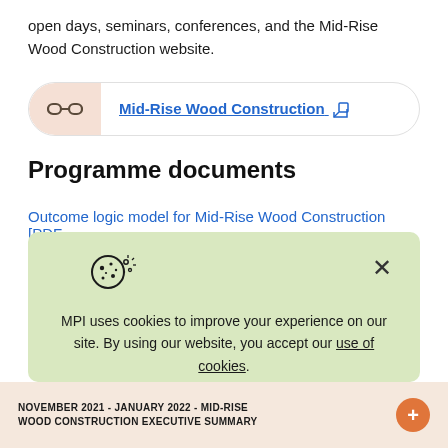open days, seminars, conferences, and the Mid-Rise Wood Construction website.
Mid-Rise Wood Construction (external link)
Programme documents
Outcome logic model for Mid-Rise Wood Construction [PDF.
[Figure (screenshot): Cookie consent popup overlay with cookie icon, close (X) button, and text: MPI uses cookies to improve your experience on our site. By using our website, you accept our use of cookies.]
NOVEMBER 2021 - JANUARY 2022 - MID-RISE WOOD CONSTRUCTION EXECUTIVE SUMMARY